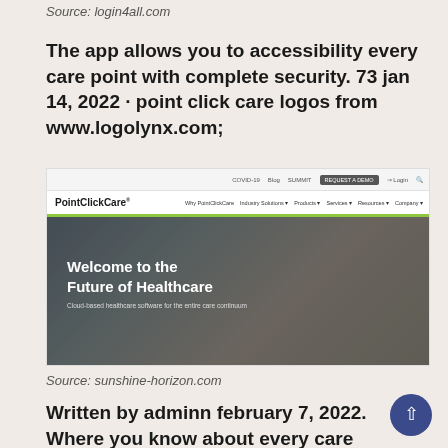Source: login4all.com
The app allows you to accessibility every care point with complete security. 73 jan 14, 2022 · point click care logos from www.logolynx.com;
[Figure (screenshot): Screenshot of PointClickCare website showing navigation bar and hero image with text 'Welcome to the Future of Healthcare' and subtitle 'Cloud-based healthcare software for the entire care continuum']
Source: sunshine-horizon.com
Written by adminn february 7, 2022. Where you know about every care quality from capable providers.